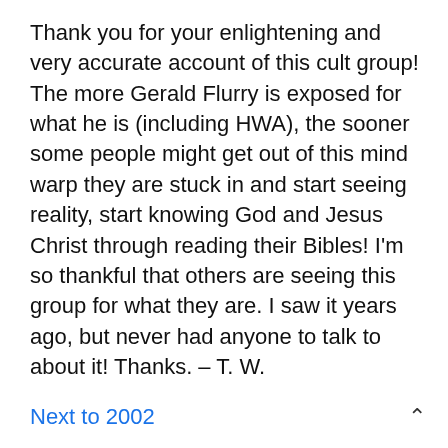Thank you for your enlightening and very accurate account of this cult group! The more Gerald Flurry is exposed for what he is (including HWA), the sooner some people might get out of this mind warp they are stuck in and start seeing reality, start knowing God and Jesus Christ through reading their Bibles! I'm so thankful that others are seeing this group for what they are. I saw it years ago, but never had anyone to talk to about it! Thanks. – T. W.
Next to 2002